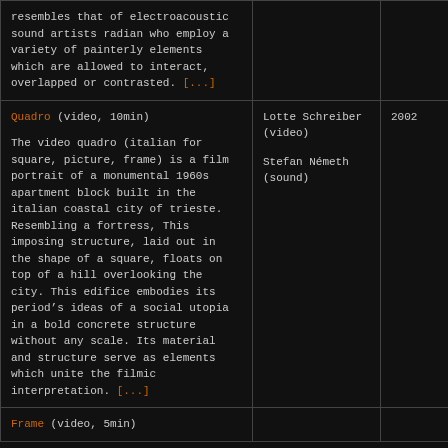| Work | Artist/Role | Year |
| --- | --- | --- |
| resembles that of electroacoustic sound artists radian who employ a variety of painterly elements which are allowed to interact, overlapped or contrasted. [...] |  |  |
| Quadro (video, 10min)

The video quadro (italian for square, picture, frame) is a film portrait of a monumental 1960s apartment block built in the italian coastal city of trieste. Resembling a fortress, This imposing structure, laid out in the shape of a square, floats on top of a hill overlooking the city. This edifice embodies its periods ideas of a social utopia in a bold concrete structure without any scale. Its material and structure serve as elements which unite the filmic interpretation. [...] | Lotte Schreiber (video)

Stefan Németh (sound) | 2002 |
| Frame (video, 5min) |  |  |